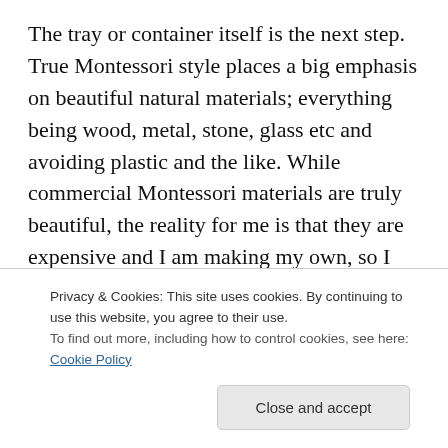The tray or container itself is the next step. True Montessori style places a big emphasis on beautiful natural materials; everything being wood, metal, stone, glass etc and avoiding plastic and the like. While commercial Montessori materials are truly beautiful, the reality for me is that they are expensive and I am making my own, so I have to work with what I have. I initially visited a bunch of swap-meets, op shops, second-hand shops, discount variety stores and the like and bought a stack of wooden bowls, wooden trays, glass dishes, metal bowls, and anything else that fit... but...
Privacy & Cookies: This site uses cookies. By continuing to use this website, you agree to their use.
To find out more, including how to control cookies, see here: Cookie Policy
ended up using the flat plastic lids from small plastic